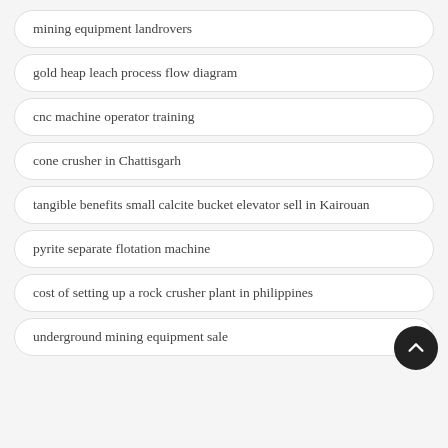mining equipment landrovers
gold heap leach process flow diagram
cnc machine operator training
cone crusher in Chattisgarh
tangible benefits small calcite bucket elevator sell in Kairouan
pyrite separate flotation machine
cost of setting up a rock crusher plant in philippines
underground mining equipment sale